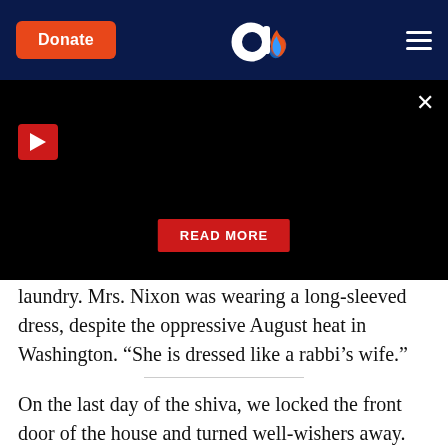Donate | [Logo] | [Menu]
[Figure (screenshot): Black video player area with red play button in top-left, close X button in top-right, and red READ MORE button in center-bottom]
laundry. Mrs. Nixon was wearing a long-sleeved dress, despite the oppressive August heat in Washington. “She is dressed like a rabbi’s wife.”
On the last day of the shiva, we locked the front door of the house and turned well-wishers away. We gathered around my father in a complete circle, sons, daughters, and children-in-law. “Tell us what is on your mind, Dad. Say anything and everything.”